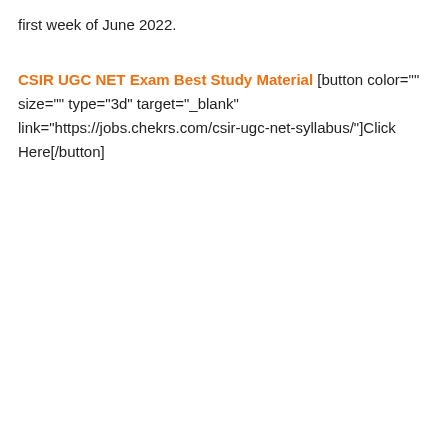first week of June 2022.
CSIR UGC NET Exam Best Study Material [button color="" size="" type="3d" target="_blank" link="https://jobs.chekrs.com/csir-ugc-net-syllabus/"]Click Here[/button]